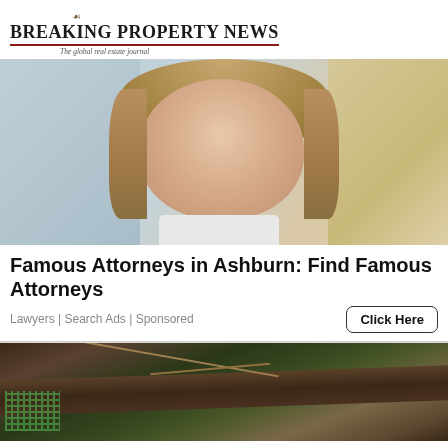[Figure (logo): Breaking Property News logo with crown icon and tagline 'The global real estate journal']
[Figure (photo): Portrait photo of a young woman with brown hair, light eyes, wearing white, against a light blue/grey background]
Famous Attorneys in Ashburn: Find Famous Attorneys
Lawyers | Search Ads | Sponsored
Click Here
[Figure (photo): Outdoor photo showing wooden logs/debris with a green mesh/net on the ground, nature scene]